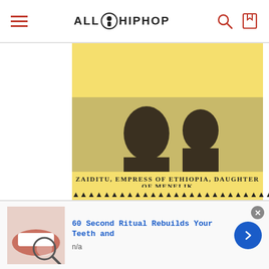ALL HIP HOP
[Figure (photo): Historical photo of Zaiditu, Empress of Ethiopia, Daughter of Menelik, shown on a yellow card with triangular border decoration]
ZAIDITU, EMPRESS OF ETHIOPIA, DAUGHTER OF MENELIK
[Figure (photo): Broken image placeholder for 0684815818.jpg]
[Figure (photo): Broken image placeholder for Circle7Koran.jpg]
60 Second Ritual Rebuilds Your Teeth and
n/a